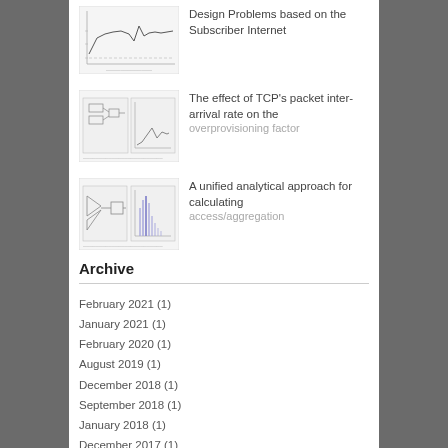[Figure (continuous-plot): Thumbnail image showing a line chart related to subscriber internet design]
Design Problems based on the Subscriber Internet
[Figure (schematic): Thumbnail showing a schematic diagram and a small chart related to TCP packet inter-arrival rate]
The effect of TCP's packet inter-arrival rate on the overprovisioning factor
[Figure (engineering-diagram): Thumbnail showing an engineering diagram and a bar/spike chart related to access/aggregation]
A unified analytical approach for calculating access/aggregation
Archive
February 2021 (1)
January 2021 (1)
February 2020 (1)
August 2019 (1)
December 2018 (1)
September 2018 (1)
January 2018 (1)
December 2017 (1)